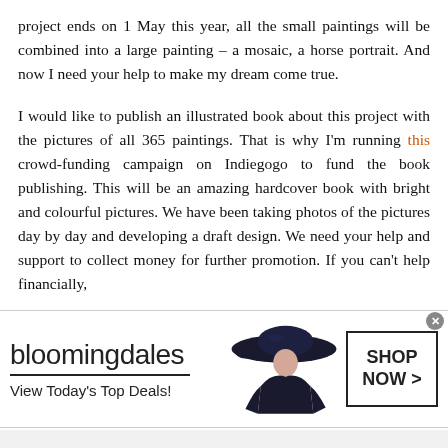project ends on 1 May this year, all the small paintings will be combined into a large painting – a mosaic, a horse portrait. And now I need your help to make my dream come true.

I would like to publish an illustrated book about this project with the pictures of all 365 paintings. That is why I'm running this crowd-funding campaign on Indiegogo to fund the book publishing. This will be an amazing hardcover book with bright and colourful pictures. We have been taking photos of the pictures day by day and developing a draft design. We need your help and support to collect money for further promotion. If you can't help financially,
[Figure (photo): Bloomingdale's advertisement banner showing the Bloomingdale's logo, 'View Today's Top Deals!' tagline, a woman in a wide-brimmed hat, and a 'SHOP NOW >' button.]